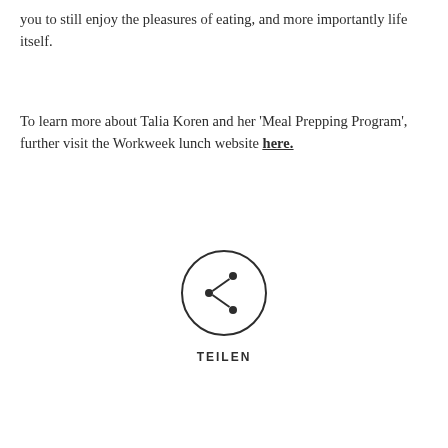you to still enjoy the pleasures of eating, and more importantly life itself.
To learn more about Talia Koren and her 'Meal Prepping Program', further visit the Workweek lunch website here.
[Figure (illustration): A circular share button icon with a share/export symbol inside, labeled TEILEN below]